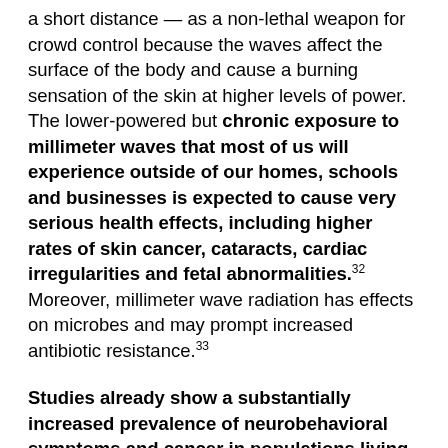a short distance — as a non-lethal weapon for crowd control because the waves affect the surface of the body and cause a burning sensation of the skin at higher levels of power. The lower-powered but chronic exposure to millimeter waves that most of us will experience outside of our homes, schools and businesses is expected to cause very serious health effects, including higher rates of skin cancer, cataracts, cardiac irregularities and fetal abnormalities.32 Moreover, millimeter wave radiation has effects on microbes and may prompt increased antibiotic resistance.33
Studies already show a substantially increased prevalence of neurobehavioral symptoms and cancer in populations living less than five